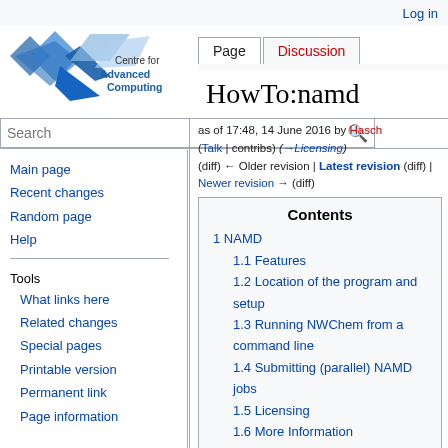Log in
[Figure (logo): Centre for Advanced Computing logo with blue star/arrow motif]
Page | Discussion | Read | Edit | View history
HowTo:namd
as of 17:48, 14 June 2016 by Hasch (Talk | contribs) (→Licensing)
(diff) ← Older revision | Latest revision (diff) | Newer revision → (diff)
Search
Main page
Recent changes
Random page
Help
Tools
What links here
Related changes
Special pages
Printable version
Permanent link
Page information
| Contents |
| 1 NAMD |
| 1.1 Features |
| 1.2 Location of the program and setup |
| 1.3 Running NWChem from a command line |
| 1.4 Submitting (parallel) NAMD jobs |
| 1.5 Licensing |
| 1.6 More Information |